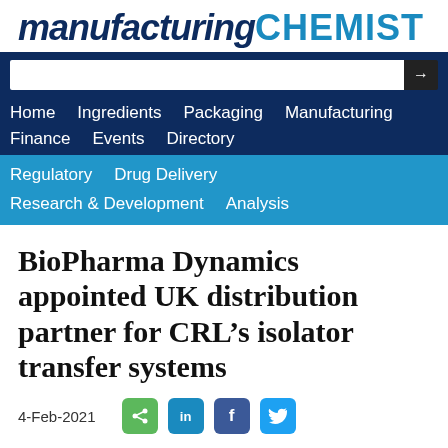manufacturing CHEMIST
[Figure (screenshot): Navigation bar with search box and menu links: Home, Ingredients, Packaging, Manufacturing, Finance, Events, Directory in dark blue; Regulatory, Drug Delivery, Research & Development, Analysis in medium blue]
BioPharma Dynamics appointed UK distribution partner for CRL's isolator transfer systems
4-Feb-2021